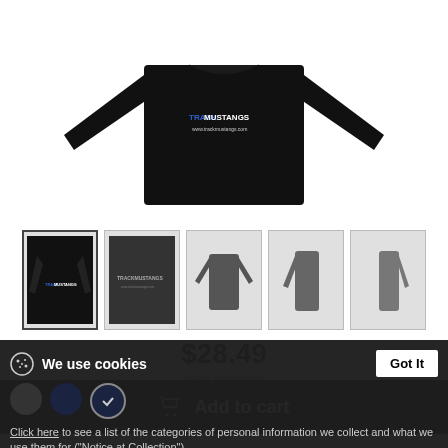[Figure (photo): Black long-sleeve shirt product image, front view showing TrackMustangs branding]
[Figure (photo): Row of 5 product thumbnails: front with logo, back with TrackMustangs text, front plain view, side view, rear side view]
$28.49
plus shipping
Add to cart
We use cookies
Got It
Click here to see a list of the categories of personal information we collect and what we use them for ("Notice at Collection").
Privacy Policy
Do Not Sell My Personal Information
By using this website, I agree to the Terms and Conditions